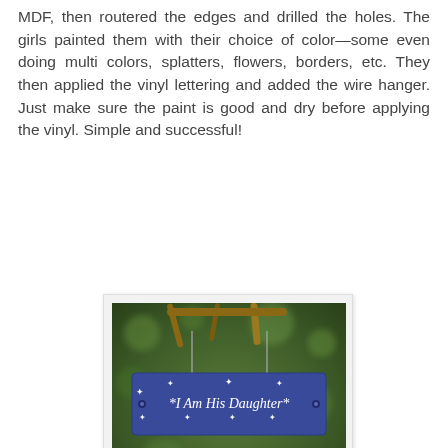MDF, then routered the edges and drilled the holes. The girls painted them with their choice of color—some even doing multi colors, splatters, flowers, borders, etc. They then applied the vinyl lettering and added the wire hanger. Just make sure the paint is good and dry before applying the vinyl. Simple and successful!
[Figure (photo): A blue painted wooden sign reading '*I Am His Daughter*' with white vinyl lettering and star decorations, hung on a branch against a green bokeh background. Watermark: Second Chances by Sherri.]
[Figure (photo): A pink painted wooden sign reading 'I AM His DAUGHTER' with white vinyl lettering, partially visible, hung on a branch against a green bokeh background.]